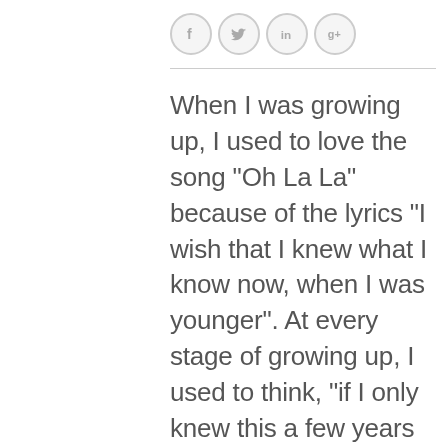Social media share icons (f, Twitter bird, in, g+)
When I was growing up, I used to love the song “Oh La La” because of the lyrics “I wish that I knew what I know now, when I was younger”.  At every stage of growing up, I used to think, “if I only knew this a few years ago…”.  If you think about it, it makes perfect sense that you will be better off with more information so it’s pretty obvious that if you add life